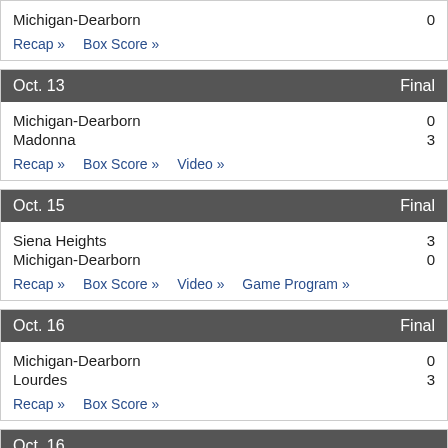| Team | Score |
| --- | --- |
| Michigan-Dearborn | 0 |
Recap » Box Score »
| Oct. 13 | Final |
| --- | --- |
| Michigan-Dearborn | 0 |
| Madonna | 3 |
Recap » Box Score » Video »
| Oct. 15 | Final |
| --- | --- |
| Siena Heights | 3 |
| Michigan-Dearborn | 0 |
Recap » Box Score » Video » Game Program »
| Oct. 16 | Final |
| --- | --- |
| Michigan-Dearborn | 0 |
| Lourdes | 3 |
Recap » Box Score »
Oct. 16